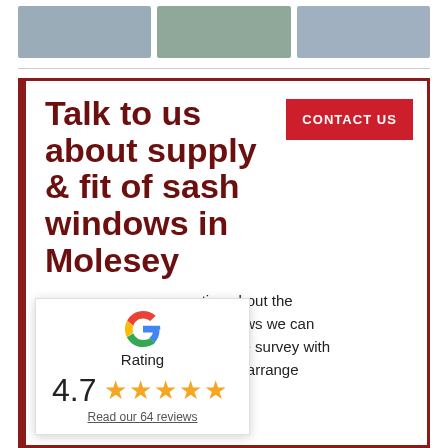[Figure (photo): Three house window photos in a horizontal strip at the top of the page]
Talk to us about supply & fit of sash windows in Molesey
[Figure (other): CONTACT US button (red background, white text)]
nation about the sh windows we can a free site survey with a no obligation quotation or to arrange
[Figure (infographic): Google Rating popup: G logo, 'Rating', score 4.7, five gold stars, 'Read our 64 reviews' link]